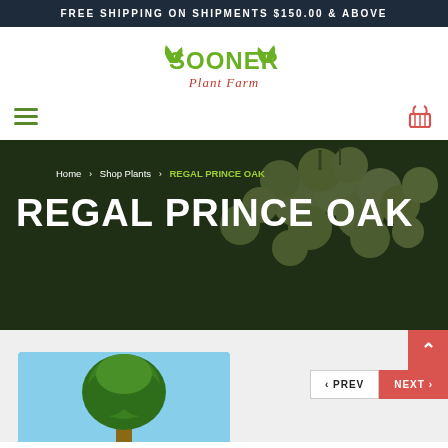FREE SHIPPING ON SHIPMENTS $150.00 & ABOVE
[Figure (logo): Sooner Plant Farm logo with green leaf decorations and red handwritten Plant Farm text]
Home > Shop Plants > REGAL PRINCE OAK
REGAL PRINCE OAK
[Figure (photo): Regal Prince Oak tree against blue sky background]